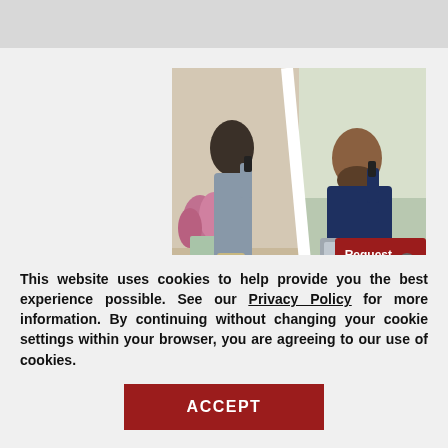[Figure (photo): Two composite stock photos side by side: left shows a woman with short dark hair on a phone near a window with tulips; right shows a bearded man on a phone while looking at a laptop/tablet in a bright room with plants. A red popup overlay reads 'Request a Free' with a close button. Partially visible red text overlay reads 'RECOMMENDED' and below it 'SIR GR' in bold red on dark red background.]
This website uses cookies to help provide you the best experience possible. See our Privacy Policy for more information. By continuing without changing your cookie settings within your browser, you are agreeing to our use of cookies.
ACCEPT